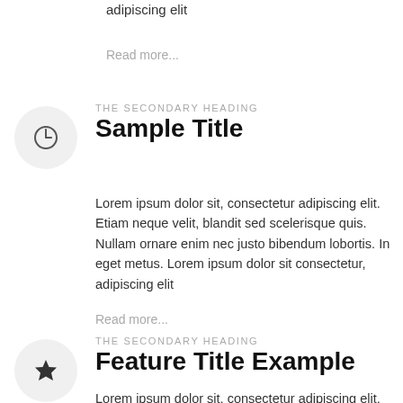adipiscing elit
Read more...
THE SECONDARY HEADING
Sample Title
Lorem ipsum dolor sit, consectetur adipiscing elit. Etiam neque velit, blandit sed scelerisque quis. Nullam ornare enim nec justo bibendum lobortis. In eget metus. Lorem ipsum dolor sit consectetur, adipiscing elit
Read more...
THE SECONDARY HEADING
Feature Title Example
Lorem ipsum dolor sit, consectetur adipiscing elit. Etiam neque velit, blandit sed scelerisque quis. Nullam ornare enim nec justo bibendum lobortis. In eget metus.